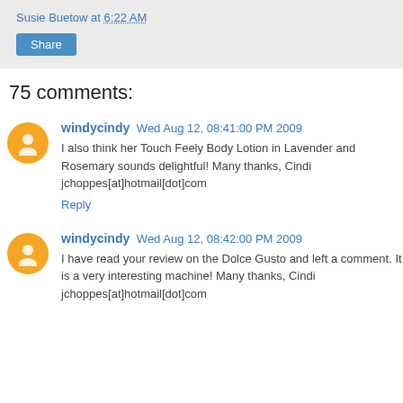Susie Buetow at 6:22 AM
Share
75 comments:
windycindy Wed Aug 12, 08:41:00 PM 2009
I also think her Touch Feely Body Lotion in Lavender and Rosemary sounds delightful! Many thanks, Cindi jchoppes[at]hotmail[dot]com
Reply
windycindy Wed Aug 12, 08:42:00 PM 2009
I have read your review on the Dolce Gusto and left a comment. It is a very interesting machine! Many thanks, Cindi jchoppes[at]hotmail[dot]com